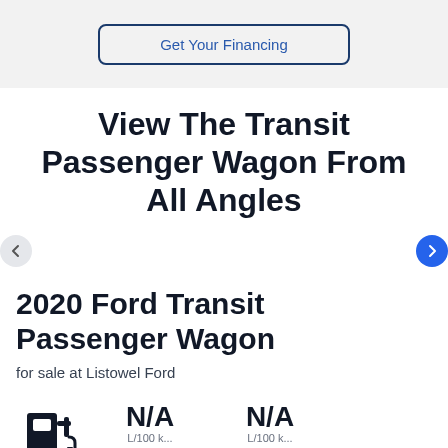Get Your Financing
View The Transit Passenger Wagon From All Angles
2020 Ford Transit Passenger Wagon
for sale at Listowel Ford
N/A
N/A